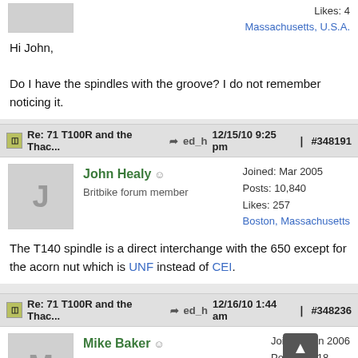Likes: 4
Massachusetts, U.S.A.
Hi John,

Do I have the spindles with the groove? I do not remember noticing it.
Re: 71 T100R and the Thac... ed_h 12/15/10 9:25 pm #348191
John Healy
Britbike forum member
Joined: Mar 2005
Posts: 10,840
Likes: 257
Boston, Massachusetts
The T140 spindle is a direct interchange with the 650 except for the acorn nut which is UNF instead of CEI.
Re: 71 T100R and the Thac... ed_h 12/16/10 1:44 am #348236
Mike Baker
Britbike forum member
Joined: Jan 2006
Posts: 2,418
Likes: 101